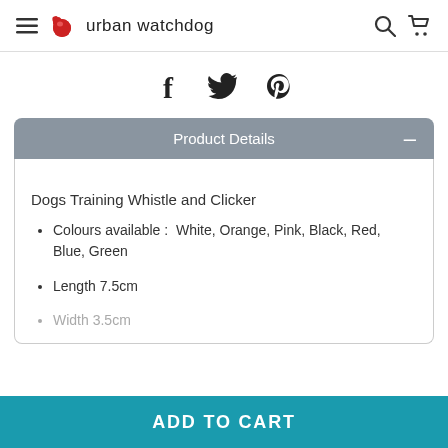urban watchdog
[Figure (other): Social sharing icons: Facebook (f), Twitter (bird), Pinterest (P)]
Product Details
Dogs Training Whistle and Clicker
Colours available :  White, Orange, Pink, Black, Red, Blue, Green
Length 7.5cm
Width 3.5cm
ADD TO CART